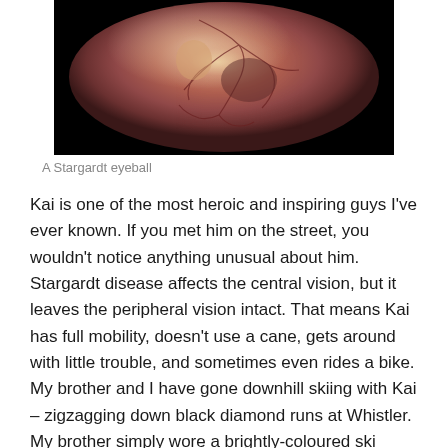[Figure (photo): A fundus photograph of a Stargardt disease eyeball showing a circular retinal image with reddish-brown coloration, blood vessels visible, and darker macular region, set against a black background.]
A Stargardt eyeball
Kai is one of the most heroic and inspiring guys I've ever known. If you met him on the street, you wouldn't notice anything unusual about him. Stargardt disease affects the central vision, but it leaves the peripheral vision intact. That means Kai has full mobility, doesn't use a cane, gets around with little trouble, and sometimes even rides a bike. My brother and I have gone downhill skiing with Kai – zigzagging down black diamond runs at Whistler. My brother simply wore a brightly-coloured ski jacket, which was easy for Kai to see against the snow.